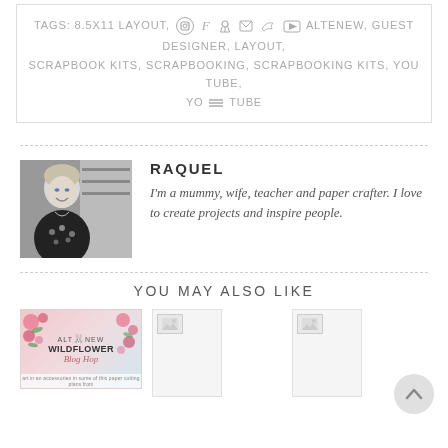TAGS: 8.5X11 LAYOUT, ALTENEW, GUEST DESIGNER, LAYOUT, SCRAPBOOK KITS, SCRAPBOOKING, SCRAPBOOKING KITS, YOU TUBE, YOUTUBE
RAQUEL
I'm a mummy, wife, teacher and paper crafter. I love to create projects and inspire people.
YOU MAY ALSO LIKE
[Figure (photo): Black and white photo of a woman (Raquel), blog author]
[Figure (photo): Altenew Wildflower Blog Hop thumbnail with floral design]
[Figure (photo): Broken image placeholder thumbnail 1]
[Figure (photo): Broken image placeholder thumbnail 2]